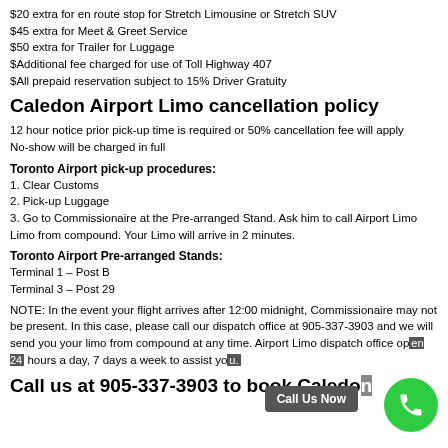$20 extra for en route stop for Stretch Limousine or Stretch SUV
$45 extra for Meet & Greet Service
$50 extra for Trailer for Luggage
$Additional fee charged for use of Toll Highway 407
$All prepaid reservation subject to 15% Driver Gratuity
Caledon Airport Limo cancellation policy
12 hour notice prior pick-up time is required or 50% cancellation fee will apply
No-show will be charged in full
Toronto Airport pick-up procedures:
1. Clear Customs
2. Pick-up Luggage
3. Go to Commissionaire at the Pre-arranged Stand. Ask him to call Airport Limo Limo from compound. Your Limo will arrive in 2 minutes.
Toronto Airport Pre-arranged Stands:
Terminal 1 – Post B
Terminal 3 – Post 29
NOTE: In the event your flight arrives after 12:00 midnight, Commissionaire may not be present. In this case, please call our dispatch office at 905-337-3903 and we will send you your limo from compound at any time. Airport Limo dispatch office open 24 hours a day, 7 days a week to assist you.
Call us at 905-337-3903 to book Caledon Airport Limo